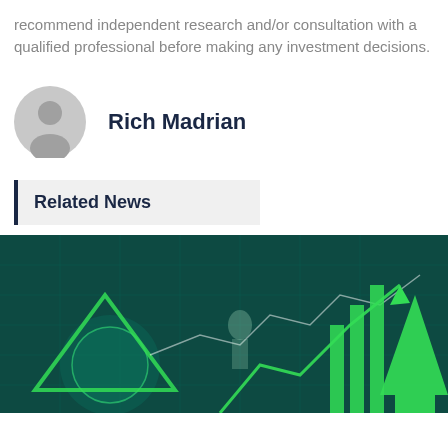recommend independent research and/or consultation with a qualified professional before making any investment decisions.
Rich Madrian
Related News
[Figure (illustration): Financial growth concept image with green arrows, stock chart arrows going up, globe, and digital human figure on dark teal background]